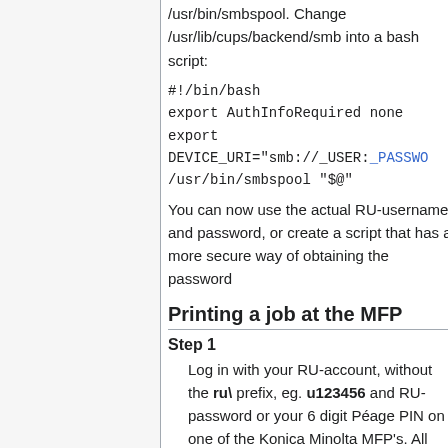/usr/bin/smbspool. Change /usr/lib/cups/backend/smb into a bash script:
#!/bin/bash
export AuthInfoRequired none
export DEVICE_URI="smb://_USER:_PASSWO
/usr/bin/smbspool "$@"
You can now use the actual RU-username and password, or create a script that has a more secure way of obtaining the password
Printing a job at the MFP
Step 1
Log in with your RU-account, without the ru\ prefix, eg. u123456 and RU-password or your 6 digit Péage PIN on one of the Konica Minolta MFP's. All MFPs have a card reader, you